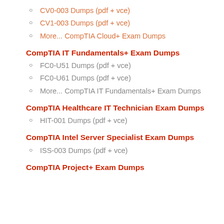CV0-003 Dumps (pdf + vce)
CV1-003 Dumps (pdf + vce)
More... CompTIA Cloud+ Exam Dumps
CompTIA IT Fundamentals+ Exam Dumps
FC0-U51 Dumps (pdf + vce)
FC0-U61 Dumps (pdf + vce)
More... CompTIA IT Fundamentals+ Exam Dumps
CompTIA Healthcare IT Technician Exam Dumps
HIT-001 Dumps (pdf + vce)
CompTIA Intel Server Specialist Exam Dumps
ISS-003 Dumps (pdf + vce)
CompTIA Project+ Exam Dumps